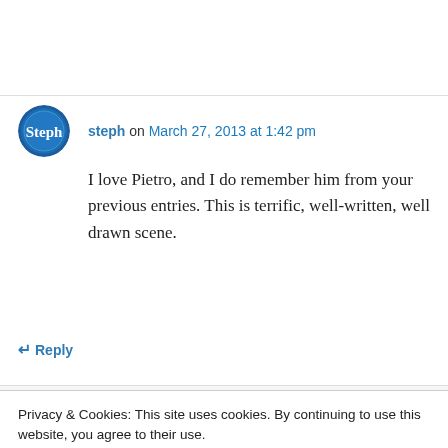steph on March 27, 2013 at 1:42 pm
I love Pietro, and I do remember him from your previous entries. This is terrific, well-written, well drawn scene.
↵ Reply
Brian Pencit on March 29, 2013 at 9:39 am
Privacy & Cookies: This site uses cookies. By continuing to use this website, you agree to their use.
To find out more, including how to control cookies, see here: Cookie Policy
Close and accept
Advertisements